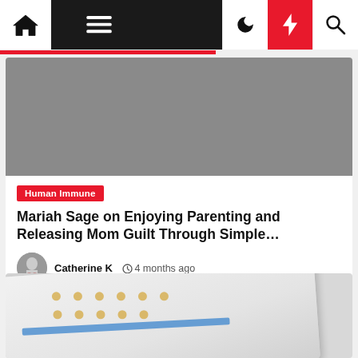Navigation bar with home, menu, dark mode, flash, and search icons
[Figure (photo): Gray placeholder image for article thumbnail]
Human Immune
Mariah Sage on Enjoying Parenting and Releasing Mom Guilt Through Simple…
Catherine K  4 months ago
[Figure (photo): Partial image of a curled/rolled paper or bandage with dots and blue stripe visible at bottom of page]